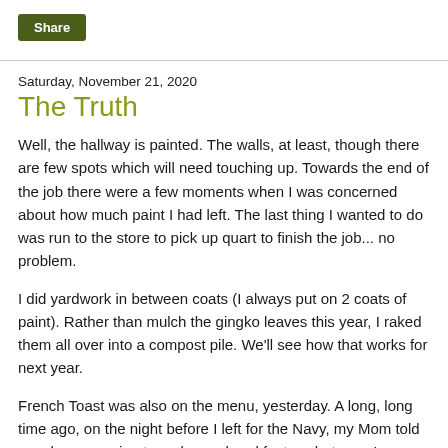Share
Saturday, November 21, 2020
The Truth
Well, the hallway is painted.  The walls, at least, though there are few spots which will need touching up.  Towards the end of the job there were a few moments when I was concerned about how much paint I had left.  The last thing I wanted to do was run to the store to pick up quart to finish the job... no problem.
I did yardwork in between coats (I always put on 2 coats of paint).  Rather than mulch the gingko leaves this year, I raked them all over into a compost pile.  We'll see how that works for next year.
French Toast was also on the menu, yesterday.  A long, long time ago, on the night before I left for the Navy, my Mom told me she was going to make me breakfast... what ever I wanted.  I told her I wanted French Toast and she told me"